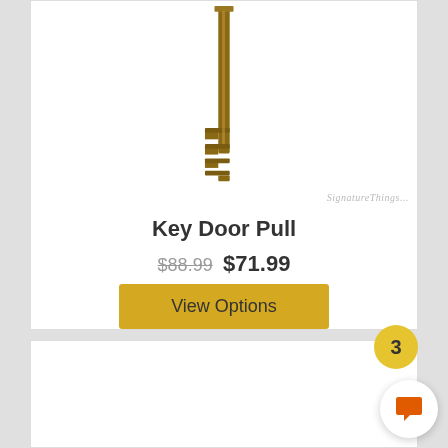[Figure (photo): A brass skeleton key (Key Door Pull) shown vertically against white background, with SignatureThings watermark in bottom right]
Key Door Pull
$88.99  $71.99
View Options
[Figure (other): Partial view of a second product card below]
3
[Figure (other): Chat button icon (speech bubble) in bottom right corner]